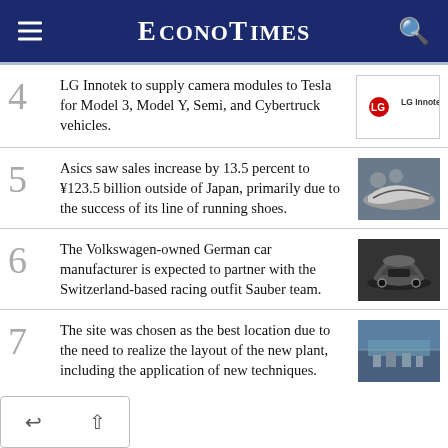EconoTimes
4 LG Innotek to supply camera modules to Tesla for Model 3, Model Y, Semi, and Cybertruck vehicles.
5 Asics saw sales increase by 13.5 percent to ¥123.5 billion outside of Japan, primarily due to the success of its line of running shoes.
6 The Volkswagen-owned German car manufacturer is expected to partner with the Switzerland-based racing outfit Sauber team.
7 The site was chosen as the best location due to the need to realize the layout of the new plant, including the application of new techniques.